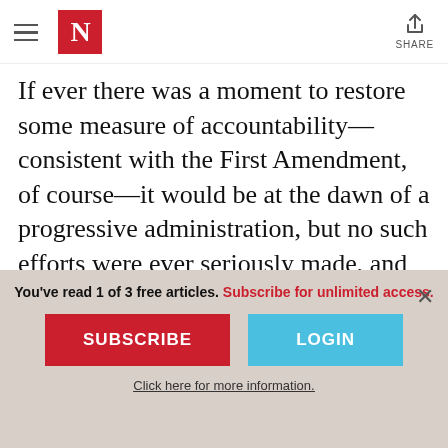The Nation — navigation header with hamburger menu, N logo, and Share button
If ever there was a moment to restore some measure of accountability—consistent with the First Amendment, of course—it would be at the dawn of a progressive administration, but no such efforts were ever seriously made, and no campaign seems to be in sight. Indeed, the relatively progressive head of the Federal Communications Commission has his
You've read 1 of 3 free articles. Subscribe for unlimited access.
SUBSCRIBE
LOGIN
Click here for more information.